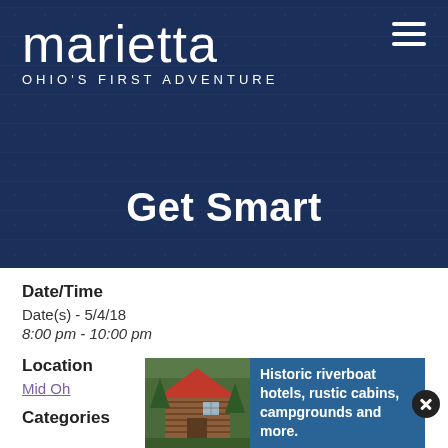[Figure (screenshot): Marietta Ohio's First Adventure tourism website header with dark navy background and subtle pattern]
Get Smart
Date/Time
Date(s) - 5/4/18
8:00 pm - 10:00 pm
Location
Mid Oh[io]
[Figure (infographic): Advertisement banner showing a rustic log cabin photo with text: Historic riverboat hotels, rustic cabins, campgrounds and more.]
Categories